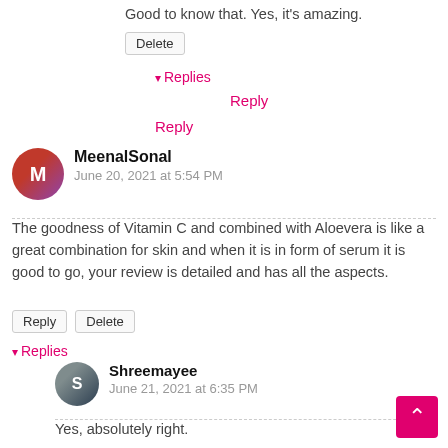Good to know that. Yes, it's amazing.
Delete
▾ Replies
Reply
Reply
MeenalSonal
June 20, 2021 at 5:54 PM
The goodness of Vitamin C and combined with Aloevera is like a great combination for skin and when it is in form of serum it is good to go, your review is detailed and has all the aspects.
Reply
Delete
▾ Replies
Shreemayee
June 21, 2021 at 6:35 PM
Yes, absolutely right.
Delete
▾ Replies
Reply